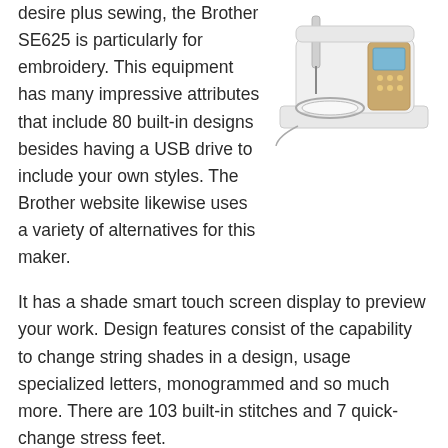[Figure (photo): Photo of a Brother SE625 sewing and embroidery machine, white and gold colored, shown at an angle from above-front.]
desire plus sewing, the Brother SE625 is particularly for embroidery. This equipment has many impressive attributes that include 80 built-in designs besides having a USB drive to include your own styles. The Brother website likewise uses a variety of alternatives for this maker.
It has a shade smart touch screen display to preview your work. Design features consist of the capability to change string shades in a design, usage specialized letters, monogrammed and so much more. There are 103 built-in stitches and 7 quick-change stress feet.